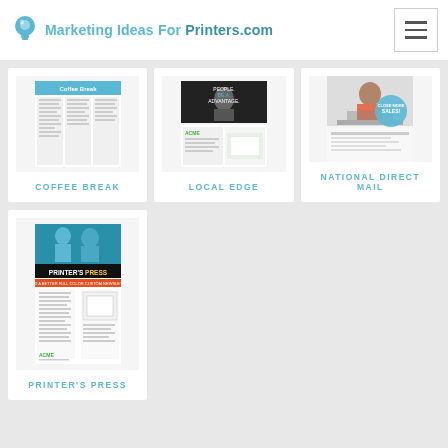Marketing Ideas For Printers.com
[Figure (screenshot): Coffee Break newsletter thumbnail]
COFFEE BREAK
[Figure (screenshot): Local Edge product thumbnail with two images: woman portrait and ACME direct mail piece]
LOCAL EDGE
[Figure (screenshot): National Direct Mail thumbnail showing woman at desk and 'Close More Sales!' graphic]
NATIONAL DIRECT MAIL
[Figure (screenshot): Printer's Press newsletter thumbnail]
PRINTER'S PRESS